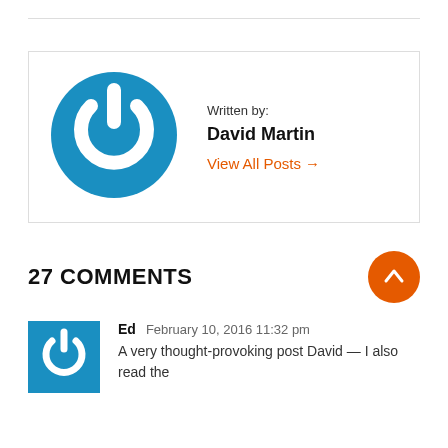[Figure (logo): Blue circular power button logo icon with white power symbol]
Written by:
David Martin
View All Posts →
27 COMMENTS
[Figure (illustration): Orange circle with white up arrow scroll-to-top button]
[Figure (illustration): Blue square avatar icon with white power symbol]
Ed   February 10, 2016 11:32 pm
A very thought-provoking post David — I also read the